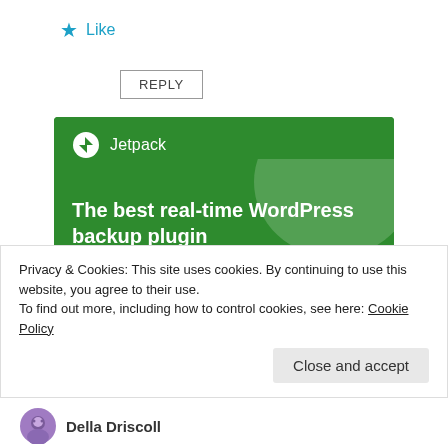★ Like
REPLY
[Figure (screenshot): Jetpack advertisement banner with green background, Jetpack logo and name at top, decorative translucent circle, bold white text reading 'The best real-time WordPress backup plugin', and a white button labeled 'Back up your site']
Privacy & Cookies: This site uses cookies. By continuing to use this website, you agree to their use.
To find out more, including how to control cookies, see here: Cookie Policy
Close and accept
Della Driscoll